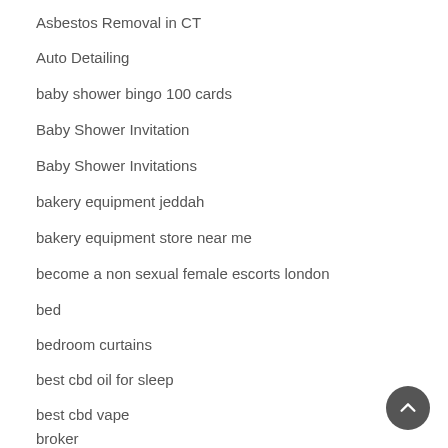Asbestos Removal in CT
Auto Detailing
baby shower bingo 100 cards
Baby Shower Invitation
Baby Shower Invitations
bakery equipment jeddah
bakery equipment store near me
become a non sexual female escorts london
bed
bedroom curtains
best cbd oil for sleep
best cbd vape
broker